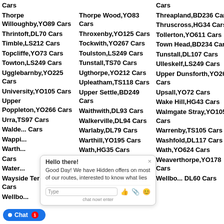Cars (col 1 header)
Cars (col 3 header)
Thorpe Willoughby,YO89 Cars
Thorpe Wood,YO83 Cars
Threapland,BD236 Cars
Thrintoft,DL70 Cars
Throxenby,YO125 Cars
Thruscross,HG34 Cars
Timble,LS212 Cars
Tockwith,YO267 Cars
Tollerton,YO611 Cars
Topcliffe,YO73 Cars
Toulston,LS249 Cars
Town Head,BD234 Cars
Towton,LS249 Cars
Tunstall,TS70 Cars
Tunstall,DL107 Cars
Ugglebarnby,YO225 Cars
Ugthorpe,YO212 Cars
Ulleskelf,LS249 Cars
University,YO105 Cars
Upleatham,TS118 Cars
Upper Dunsforth,YO269 Cars
Upper Poppleton,YO266 Cars
Upper Settle,BD249 Cars
Upsall,YO72 Cars
Urra,TS97 Cars
Waithwith,DL93 Cars
Wake Hill,HG43 Cars
Walkerville,DL94 Cars
Walmgate Stray,YO105 Cars
Wappi... Cars
Warlaby,DL79 Cars
Warrenby,TS105 Cars
Warth... Cars
Warthill,YO195 Cars
Washfold,DL117 Cars
Water... Cars
Wath,HG35 Cars
Wath,YO624 Cars
Wayside Terrace,LS170 Cars
Weaponness,YO112 Cars
Weaverthorpe,YO178 Cars
Wellbo... YO607 Cars (col1)
Wellbo... YO607 Cars (col2)
Wellbo... DL60 Cars (col3)